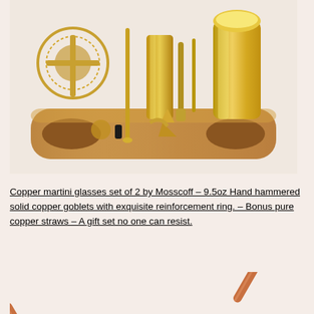[Figure (photo): Gold-colored cocktail bar tools set (shaker, strainer, spoons, jigger, etc.) displayed in a rounded wooden stand/holder with warm walnut finish]
Copper martini glasses set of 2 by Mosscoff – 9.5oz Hand hammered solid copper goblets with exquisite reinforcement ring. – Bonus pure copper straws – A gift set no one can resist.
[Figure (photo): Two copper-colored metal straws shown diagonally against a light background]